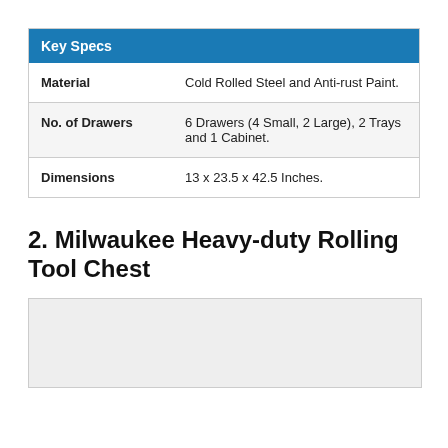| Key Specs |  |
| --- | --- |
| Material | Cold Rolled Steel and Anti-rust Paint. |
| No. of Drawers | 6 Drawers (4 Small, 2 Large), 2 Trays and 1 Cabinet. |
| Dimensions | 13 x 23.5 x 42.5 Inches. |
2. Milwaukee Heavy-duty Rolling Tool Chest
[Figure (photo): Placeholder image area for Milwaukee Heavy-duty Rolling Tool Chest]